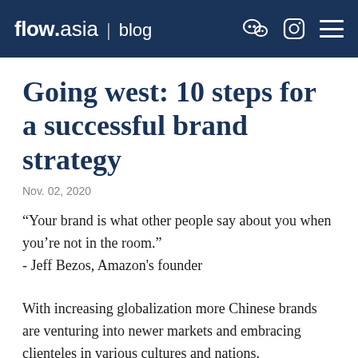flow.asia | blog
Going west: 10 steps for a successful brand strategy
Nov. 02, 2020
“Your brand is what other people say about you when you’re not in the room.”
- Jeff Bezos, Amazon's founder
With increasing globalization more Chinese brands are venturing into newer markets and embracing clienteles in various cultures and nations.